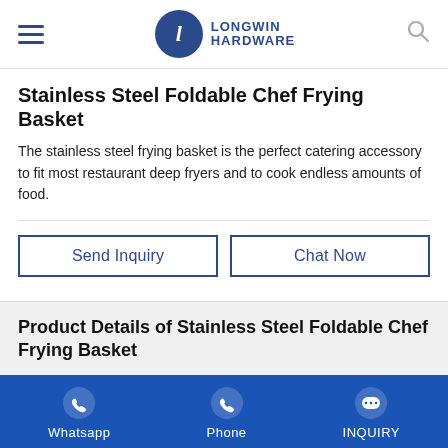Longwin Hardware
Stainless Steel Foldable Chef Frying Basket
The stainless steel frying basket is the perfect catering accessory to fit most restaurant deep fryers and to cook endless amounts of food.
Send Inquiry
Chat Now
Product Details of Stainless Steel Foldable Chef Frying Basket
Product Introduction
Whatsapp | Phone | INQUIRY